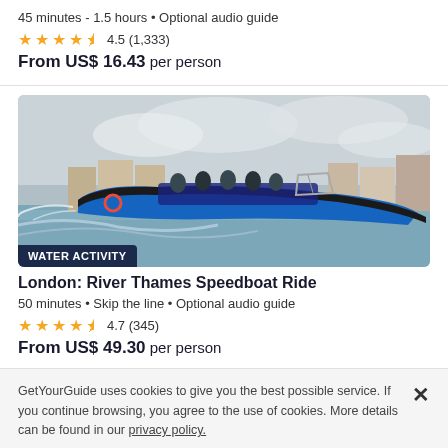45 minutes - 1.5 hours • Optional audio guide
4.5 (1,333)
From US$ 16.43 per person
[Figure (photo): A blue speedboat with passengers speeding along the River Thames in London, with buildings visible in the background. A 'WATER ACTIVITY' badge overlays the bottom-left of the image.]
London: River Thames Speedboat Ride
50 minutes • Skip the line • Optional audio guide
4.7 (345)
From US$ 49.30 per person
GetYourGuide uses cookies to give you the best possible service. If you continue browsing, you agree to the use of cookies. More details can be found in our privacy policy.